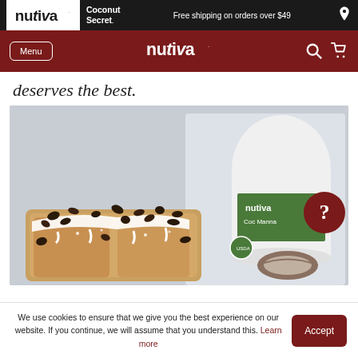nutiva | Coconut Secret | Free shipping on orders over $49
Menu | nutiva | search | cart
deserves the best.
[Figure (photo): Photo of coconut oat bars topped with white icing and cacao nibs, next to a Nutiva Coconut Manna jar in the background]
We use cookies to ensure that we give you the best experience on our website. If you continue, we will assume that you understand this. Learn more